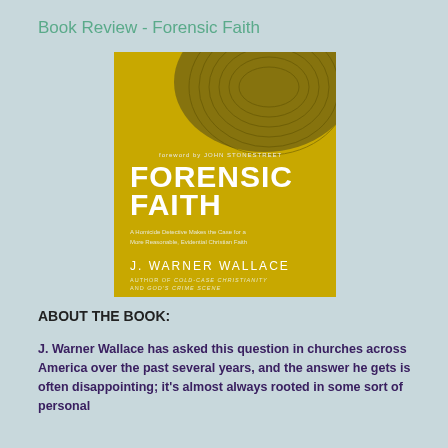Book Review - Forensic Faith
[Figure (photo): Book cover of 'Forensic Faith' by J. Warner Wallace. Yellow cover with fingerprint image. Subtitle: 'A Homicide Detective Makes the Case for a More Reasonable, Evidential Christian Faith'. Foreword by John Stonestreet. Author of Cold-Case Christianity and God's Crime Scene.]
ABOUT THE BOOK:
J. Warner Wallace has asked this question in churches across America over the past several years, and the answer he gets is often disappointing; it's almost always rooted in some sort of personal